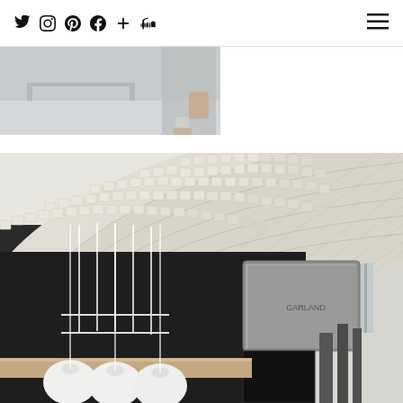Social media navigation bar with Twitter, Instagram, Pinterest, Facebook, Plus, SoundCloud icons and hamburger menu
[Figure (photo): Partial view of a person in a retail or studio space, cropped at the top of the page]
[Figure (photo): Interior architectural photo showing a curved arched ceiling with a grid/waffle texture pattern made of light beige/cream material, with pendant lamps hanging below and stainless steel kitchen or industrial equipment visible in the background]